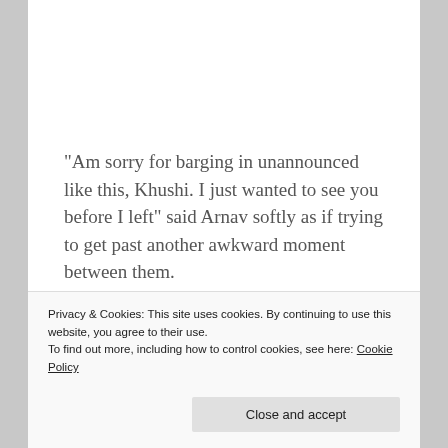“Am sorry for barging in unannounced like this, Khushi. I just wanted to see you before I left” said Arnav softly as if trying to get past another awkward moment between them.
Taking a sip of coffee from the mug, he could see
Privacy & Cookies: This site uses cookies. By continuing to use this website, you agree to their use.
To find out more, including how to control cookies, see here: Cookie Policy
Close and accept